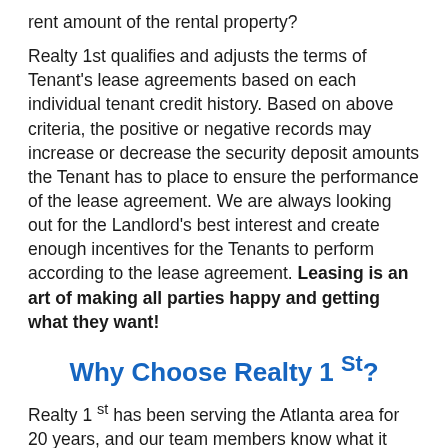rent amount of the rental property?
Realty 1st qualifies and adjusts the terms of Tenant's lease agreements based on each individual tenant credit history. Based on above criteria, the positive or negative records may increase or decrease the security deposit amounts the Tenant has to place to ensure the performance of the lease agreement. We are always looking out for the Landlord's best interest and create enough incentives for the Tenants to perform according to the lease agreement. Leasing is an art of making all parties happy and getting what they want!
Why Choose Realty 1 St?
Realty 1 st has been serving the Atlanta area for 20 years, and our team members know what it takes